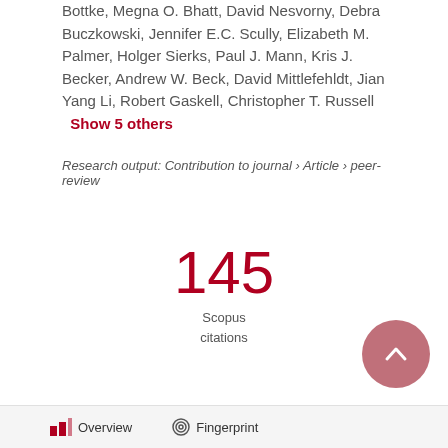Bottke, Megna O. Bhatt, David Nesvorny, Debra Buczkowski, Jennifer E.C. Scully, Elizabeth M. Palmer, Holger Sierks, Paul J. Mann, Kris J. Becker, Andrew W. Beck, David Mittlefehldt, Jian Yang Li, Robert Gaskell, Christopher T. Russell   Show 5 others
Research output: Contribution to journal › Article › peer-review
145
Scopus
citations
Overview   Fingerprint